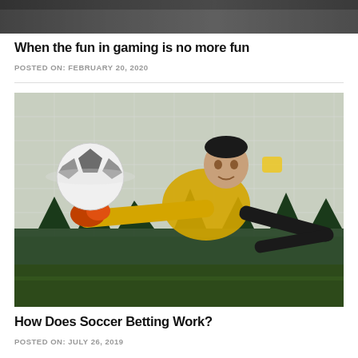[Figure (photo): Partial top image cropped at the top of the page, dark/gray tones]
When the fun in gaming is no more fun
POSTED ON: FEBRUARY 20, 2020
[Figure (photo): Soccer goalkeeper in yellow jersey diving to save a ball, action shot with net in background and trees visible, dramatic lighting]
How Does Soccer Betting Work?
POSTED ON: JULY 26, 2019